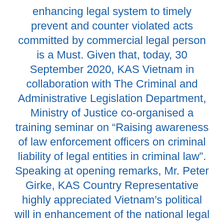enhancing legal system to timely prevent and counter violated acts committed by commercial legal person is a Must. Given that, today, 30 September 2020, KAS Vietnam in collaboration with The Criminal and Administrative Legislation Department, Ministry of Justice co-organised a training seminar on “Raising awareness of law enforcement officers on criminal liability of legal entities in criminal law”. Speaking at opening remarks, Mr. Peter Girke, KAS Country Representative highly appreciated Vietnam’s political will in enhancement of the national legal framework and also applauded Vietnam as one of pioneers in criminalization liability of legal entities.